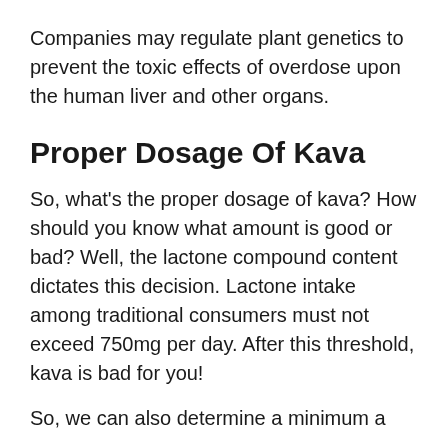Companies may regulate plant genetics to prevent the toxic effects of overdose upon the human liver and other organs.
Proper Dosage Of Kava
So, what's the proper dosage of kava? How should you know what amount is good or bad? Well, the lactone compound content dictates this decision. Lactone intake among traditional consumers must not exceed 750mg per day. After this threshold, kava is bad for you!
So, we can also determine a minimum...